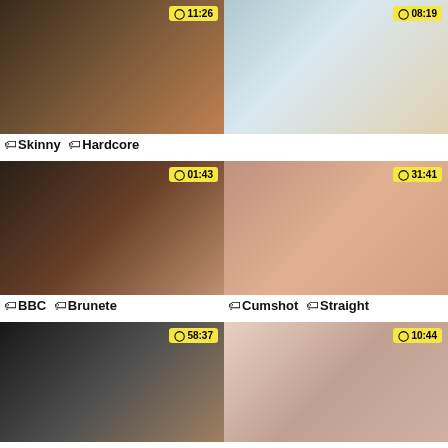[Figure (screenshot): Video thumbnail grid showing 6 video thumbnails with durations and tags]
Skinny Hardcore
BBC Brunete
Cumshot Straight